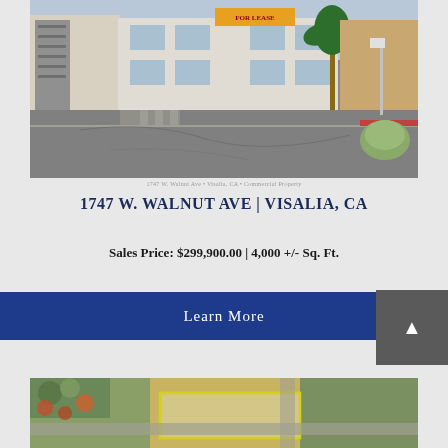[Figure (photo): Street-level exterior photo of a white two-story commercial building at 1747 W. Walnut Ave, Visalia, CA. A palm tree is visible, along with a for-lease sign. The foreground shows a parking lot/street intersection.]
1747 W. WALNUT AVE | VISALIA, CA
Sales Price: $299,900.00 | 4,000 +/- Sq. Ft.
Learn More
[Figure (photo): Aerial photo of a commercial property with a outlined yellow building footprint, surrounded by empty land and residential neighborhood with trees showing autumn foliage.]